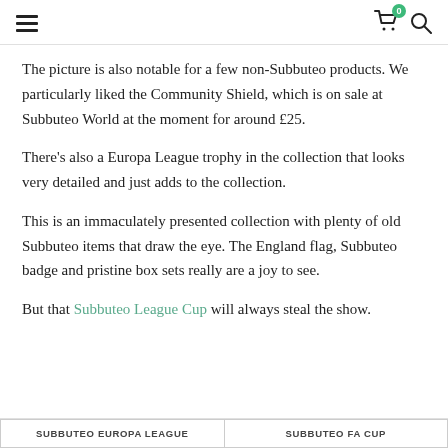≡  [cart icon with badge 0]  [search icon]
The picture is also notable for a few non-Subbuteo products. We particularly liked the Community Shield, which is on sale at Subbuteo World at the moment for around £25.
There's also a Europa League trophy in the collection that looks very detailed and just adds to the collection.
This is an immaculately presented collection with plenty of old Subbuteo items that draw the eye. The England flag, Subbuteo badge and pristine box sets really are a joy to see.
But that Subbuteo League Cup will always steal the show.
SUBBUTEO EUROPA LEAGUE
SUBBUTEO FA CUP